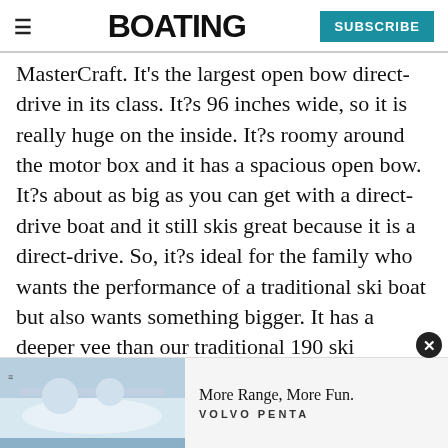≡  BOATING  SUBSCRIBE
MasterCraft. It's the largest open bow direct-drive in its class. It?s 96 inches wide, so it is really huge on the inside. It?s roomy around the motor box and it has a spacious open bow. It?s about as big as you can get with a direct-drive boat and it still skis great because it is a direct-drive. So, it?s ideal for the family who wants the performance of a traditional ski boat but also wants something bigger. It has a deeper vee than our traditional 190 ski boat ... gh water. It?s not a traditional slalom boat
[Figure (photo): Advertisement banner with image of people on a boat and text 'More Range, More Fun. VOLVO PENTA']